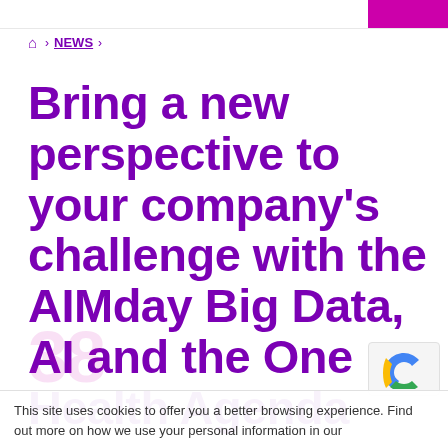🏠 > NEWS >
Bring a new perspective to your company's challenge with the AIMday Big Data, AI and the One Health Agenda
This site uses cookies to offer you a better browsing experience. Find out more on how we use your personal information in our